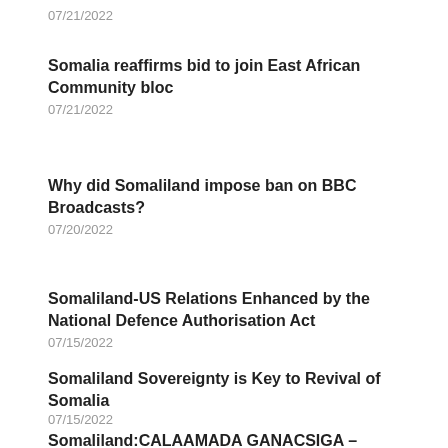07/21/2022
Somalia reaffirms bid to join East African Community bloc
07/21/2022
Why did Somaliland impose ban on BBC Broadcasts?
07/20/2022
Somaliland-US Relations Enhanced by the National Defence Authorisation Act
07/15/2022
Somaliland Sovereignty is Key to Revival of Somalia
07/15/2022
Somaliland:CALAAMADA GANACSIGA –